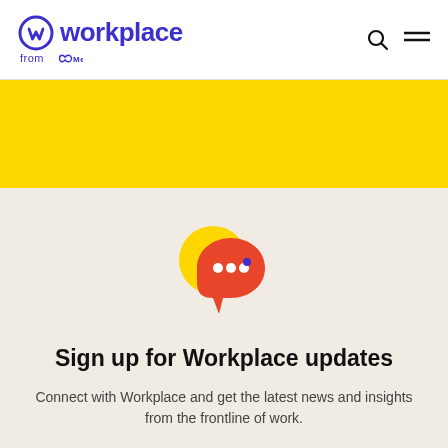[Figure (logo): Workplace from Meta logo with circular W icon in indigo/purple color]
[Figure (illustration): Yellow background banner strip]
[Figure (illustration): Chat bubble icon: yellow circle bubble behind orange-red speech bubble with three white dots and a blue dot]
Sign up for Workplace updates
Connect with Workplace and get the latest news and insights from the frontline of work.